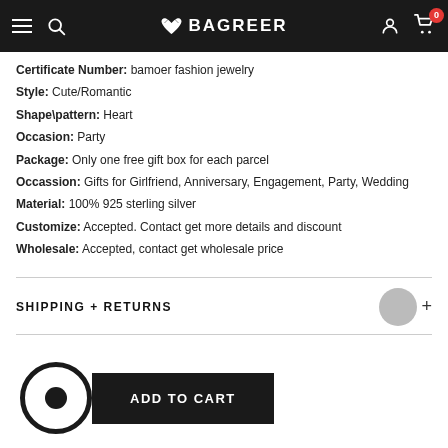BAGREER
Certificate Number: bamoer fashion jewelry
Style: Cute/Romantic
Shape\pattern: Heart
Occasion: Party
Package: Only one free gift box for each parcel
Occassion: Gifts for Girlfriend, Anniversary, Engagement, Party, Wedding
Material: 100% 925 sterling silver
Customize: Accepted. Contact get more details and discount
Wholesale: Accepted, contact get wholesale price
SHIPPING + RETURNS
ADD TO CART